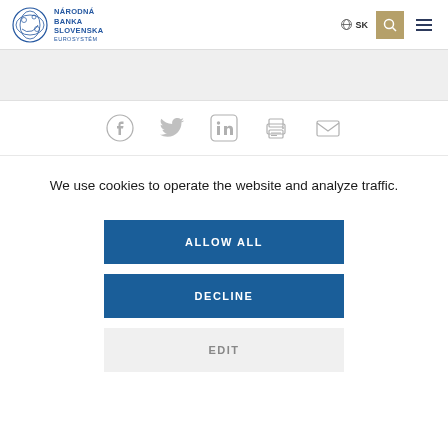Národná Banka Slovenska Eurosystém — SK (language toggle, search, menu)
[Figure (infographic): Social sharing icons row: Facebook, Twitter, LinkedIn, Print, Email]
We use cookies to operate the website and analyze traffic.
ALLOW ALL
DECLINE
EDIT